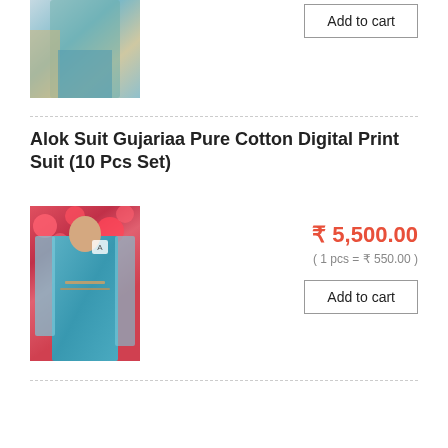[Figure (photo): Partial product photo of a teal/cyan Indian suit set with dupatta, top portion visible]
Add to cart
Alok Suit Gujariaa Pure Cotton Digital Print Suit (10 Pcs Set)
[Figure (photo): Woman wearing a teal/cyan Indian suit (salwar suit) with embroidered dupatta, posing in front of red flowers]
₹ 5,500.00
( 1 pcs = ₹ 550.00 )
Add to cart